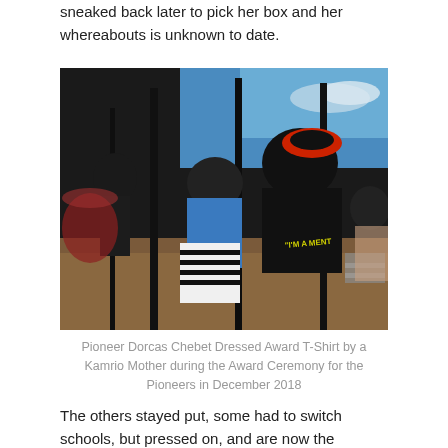sneaked back later to pick her box and her whereabouts is unknown to date.
[Figure (photo): Outdoor scene showing women, one wearing a black t-shirt reading 'I'M A MENT', another in a blue top and striped skirt. Background shows wooden poles, trees, and a clear blue sky. Caption refers to Pioneer Dorcas Chebet being dressed in an Award T-Shirt by a Kamrio Mother during the Award Ceremony for Pioneers in December 2018.]
Pioneer Dorcas Chebet Dressed Award T-Shirt by a Kamrio Mother during the Award Ceremony for the Pioneers in December 2018
The others stayed put, some had to switch schools, but pressed on, and are now the fortunate first fruits